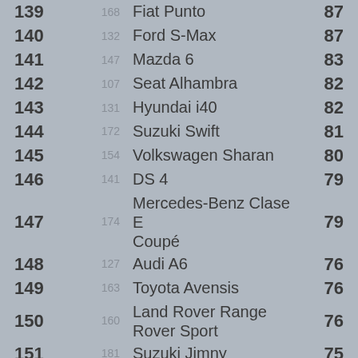| Rank | Prev | Model | Score |
| --- | --- | --- | --- |
| 139 | 168 | Fiat Punto | 87 |
| 140 | 132 | Ford S-Max | 87 |
| 141 | 147 | Mazda 6 | 83 |
| 142 | 107 | Seat Alhambra | 82 |
| 143 | 131 | Hyundai i40 | 82 |
| 144 | 172 | Suzuki Swift | 81 |
| 145 | 154 | Volkswagen Sharan | 80 |
| 146 | 141 | DS 4 | 79 |
| 147 | 174 | Mercedes-Benz Clase E Coupé | 79 |
| 148 | 127 | Audi A6 | 76 |
| 149 | 163 | Toyota Avensis | 76 |
| 150 | 160 | Land Rover Range Rover Sport | 76 |
| 151 | 181 | Suzuki Jimny | 75 |
| 152 | 165 | Suzuki S-Cross | 74 |
| 153 | 162 | BMW Serie 4 | 73 |
| 154 | 157 | Abarth 500 | 72 |
| 155 | 117 | Alfa Romeo Stelvio | 71 |
| 156 | 192 | Nissan Leaf | 71 |
| 157 | 158 | DS 5 | 68 |
| 158 | 183 | Porsche Macan | 68 |